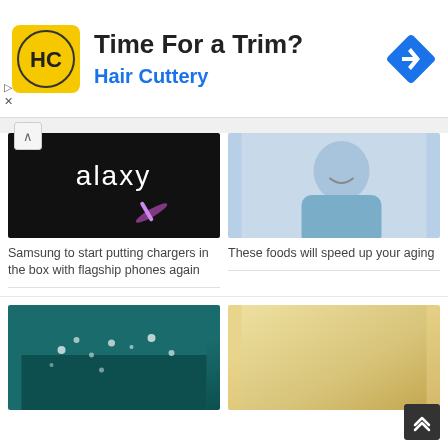[Figure (infographic): Hair Cuttery advertisement banner with yellow logo containing HC letters, headline 'Time For a Trim?', blue subtitle 'Hair Cuttery', and blue diamond navigation icon]
[Figure (photo): Dark background with Samsung Galaxy text and glowing purple/pink stylus or pen]
Samsung to start putting chargers in the box with flagship phones again
[Figure (photo): Smiling older man in blue shirt, cropped to show face and upper body]
These foods will speed up your aging
[Figure (photo): Underwater scene with teal/green water and white bubbles]
[Figure (photo): Plain gold/beige gradient background]